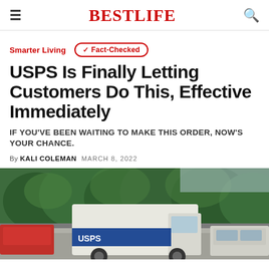BESTLIFE
Smarter Living
✓ Fact-Checked
USPS Is Finally Letting Customers Do This, Effective Immediately
IF YOU'VE BEEN WAITING TO MAKE THIS ORDER, NOW'S YOUR CHANCE.
By KALI COLEMAN   MARCH 8, 2022
[Figure (photo): A USPS mail truck parked on a street with trees in the background]